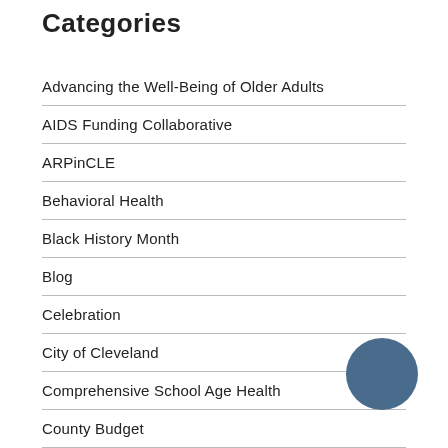Categories
Advancing the Well-Being of Older Adults
AIDS Funding Collaborative
ARPinCLE
Behavioral Health
Black History Month
Blog
Celebration
City of Cleveland
Comprehensive School Age Health
County Budget
COVID-19
Cuyahoga County
Data